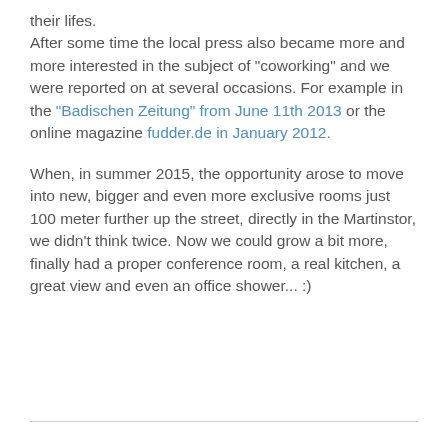their lifes. After some time the local press also became more and more interested in the subject of "coworking" and we were reported on at several occasions. For example in the "Badischen Zeitung" from June 11th 2013 or the online magazine fudder.de in January 2012.
When, in summer 2015, the opportunity arose to move into new, bigger and even more exclusive rooms just 100 meter further up the street, directly in the Martinstor, we didn't think twice. Now we could grow a bit more, finally had a proper conference room, a real kitchen, a great view and even an office shower... :)